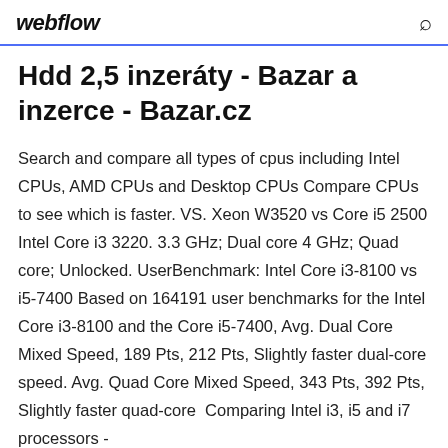webflow
Hdd 2,5 inzeráty - Bazar a inzerce - Bazar.cz
Search and compare all types of cpus including Intel CPUs, AMD CPUs and Desktop CPUs Compare CPUs to see which is faster. VS. Xeon W3520 vs Core i5 2500 Intel Core i3 3220. 3.3 GHz; Dual core 4 GHz; Quad core; Unlocked. UserBenchmark: Intel Core i3-8100 vs i5-7400 Based on 164191 user benchmarks for the Intel Core i3-8100 and the Core i5-7400, Avg. Dual Core Mixed Speed, 189 Pts, 212 Pts, Slightly faster dual-core speed. Avg. Quad Core Mixed Speed, 343 Pts, 392 Pts, Slightly faster quad-core  Comparing Intel i3, i5 and i7 processors -